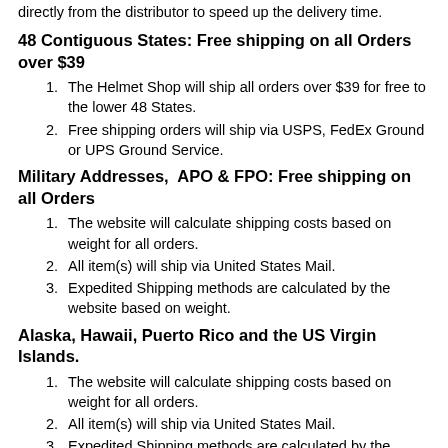directly from the distributor to speed up the delivery time.
48 Contiguous States: Free shipping on all Orders over $39
The Helmet Shop will ship all orders over $39 for free to the lower 48 States.
Free shipping orders will ship via USPS, FedEx Ground or UPS Ground Service.
Military Addresses, APO & FPO: Free shipping on all Orders
The website will calculate shipping costs based on weight for all orders.
All item(s) will ship via United States Mail.
Expedited Shipping methods are calculated by the website based on weight.
Alaska, Hawaii, Puerto Rico and the US Virgin Islands.
The website will calculate shipping costs based on weight for all orders.
All item(s) will ship via United States Mail.
Expedited Shipping methods are calculated by the website based on weight.